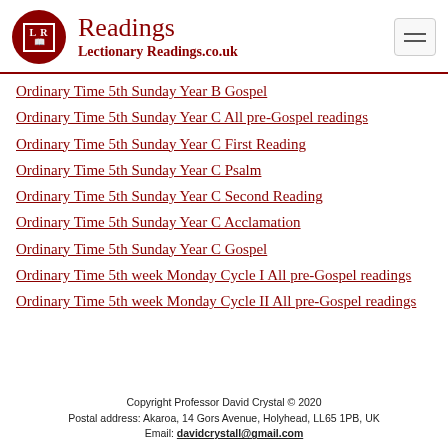Readings — LectionaryReadings.co.uk
Ordinary Time 5th Sunday Year B Gospel
Ordinary Time 5th Sunday Year C All pre-Gospel readings
Ordinary Time 5th Sunday Year C First Reading
Ordinary Time 5th Sunday Year C Psalm
Ordinary Time 5th Sunday Year C Second Reading
Ordinary Time 5th Sunday Year C Acclamation
Ordinary Time 5th Sunday Year C Gospel
Ordinary Time 5th week Monday Cycle I All pre-Gospel readings
Ordinary Time 5th week Monday Cycle II All pre-Gospel readings
Copyright Professor David Crystal © 2020
Postal address: Akaroa, 14 Gors Avenue, Holyhead, LL65 1PB, UK
Email: davidcrystall@gmail.com